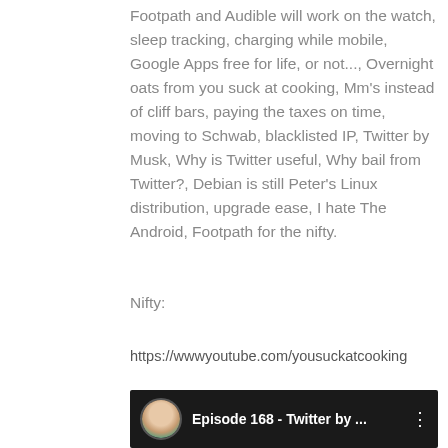Footpath and Audible will work on the watch, sleep tracking, charging while mobile, Google Apps free for life, or not..., Overnight oats from you suck at cooking, Mm's instead of cliff bars, paying the taxes on time, moving to Schwab, blacklisted IP, Twitter by Musk, Why is Twitter useful, Why bail from Twitter?, Debian is still Peter's Linux distribution, upgrade ease, I hate The Android, Footpath for the nifty.
Nifty:
https://wwwyoutube.com/yousuckatcooking
[Figure (screenshot): YouTube video thumbnail bar showing Episode 168 - Twitter by ... with a circular avatar photo and three-dot menu icon on dark background]